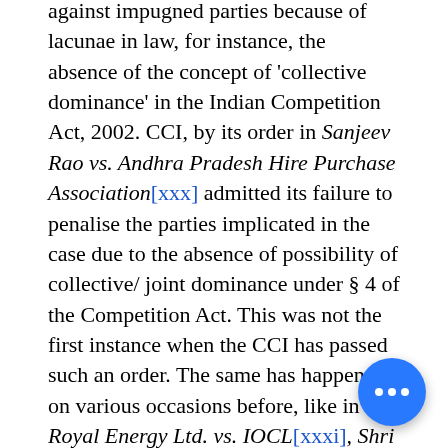against impugned parties because of lacunae in law, for instance, the absence of the concept of 'collective dominance' in the Indian Competition Act, 2002. CCI, by its order in Sanjeev Rao vs. Andhra Pradesh Hire Purchase Association[xxx] admitted its failure to penalise the parties implicated in the case due to the absence of possibility of collective/ joint dominance under § 4 of the Competition Act. This was not the first instance when the CCI has passed such an order. The same has happened on various occasions before, like in Royal Energy Ltd. vs. IOCL[xxxi], Shri Sonam Sharma vs. Apple, Vodafone, Airtel & Ors.[xxxii] to name a few. And most recently, in the case of Meru Travel Solutions (P) Ltd. v. ANI